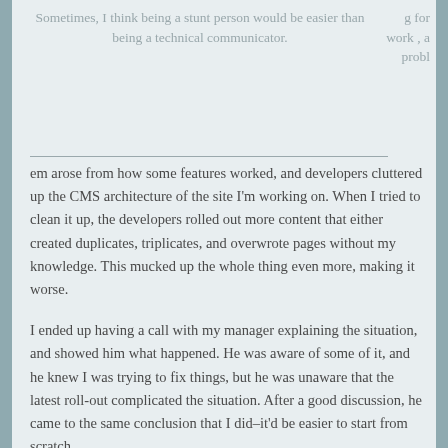Sometimes, I think being a stunt person would be easier than being a technical communicator.
g for work , a problem arose from how some features worked, and developers cluttered up the CMS architecture of the site I'm working on. When I tried to clean it up, the developers rolled out more content that either created duplicates, triplicates, and overwrote pages without my knowledge. This mucked up the whole thing even more, making it worse.
I ended up having a call with my manager explaining the situation, and showed him what happened. He was aware of some of it, and he knew I was trying to fix things, but he was unaware that the latest roll-out complicated the situation. After a good discussion, he came to the same conclusion that I did–it'd be easier to start from scratch